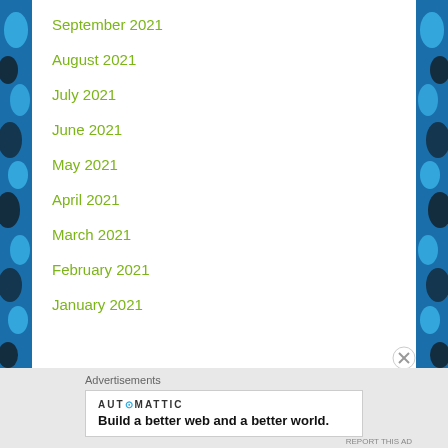September 2021
August 2021
July 2021
June 2021
May 2021
April 2021
March 2021
February 2021
January 2021
Advertisements
[Figure (logo): Automattic logo with tagline: Build a better web and a better world.]